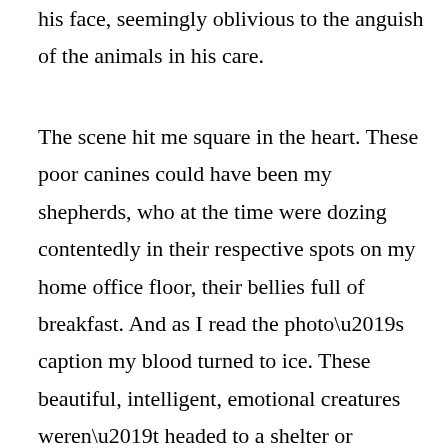his face, seemingly oblivious to the anguish of the animals in his care.
The scene hit me square in the heart. These poor canines could have been my shepherds, who at the time were dozing contentedly in their respective spots on my home office floor, their bellies full of breakfast. And as I read the photo’s caption my blood turned to ice. These beautiful, intelligent, emotional creatures weren’t headed to a shelter or anyplace where their suffering would be ended and eventually forgotten. These unfortunate dogs were headed to the live meat markets of Vietnam, where they would be